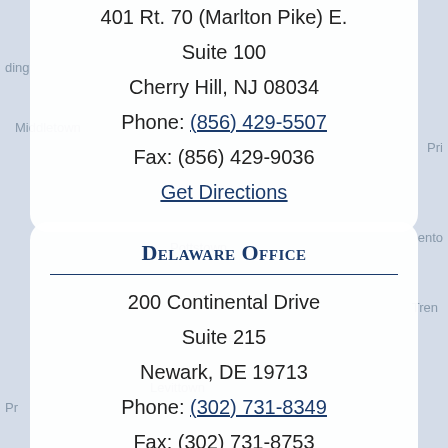401 Rt. 70 (Marlton Pike) E.
Suite 100
Cherry Hill, NJ 08034
Phone: (856) 429-5507
Fax: (856) 429-9036
Get Directions
Delaware Office
200 Continental Drive
Suite 215
Newark, DE 19713
Phone: (302) 731-8349
Fax: (302) 731-8753
Get Directions